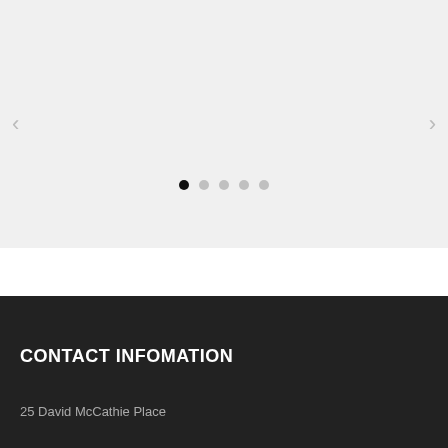[Figure (screenshot): Carousel/slider UI element with light gray background, left arrow navigation on left edge, right arrow navigation on right edge, and five pagination dots near bottom center (first dot filled black, remaining four light gray)]
CONTACT INFOMATION
25 David McCathie Place